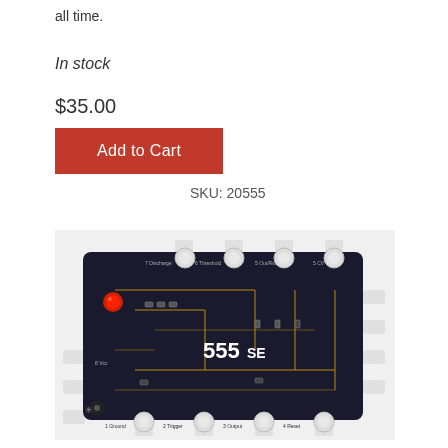all time.
In stock
$35.00
Add to Cart
SKU: 20555
[Figure (photo): Photo of the 555SE circuit board/module with white knobs, a red LED, and labeled connections including Ground, Trigger, Output, Reset, CV, Threshold, Discharge, and Vcc. The board is dark with gold circuit traces and '555SE' printed in white text.]